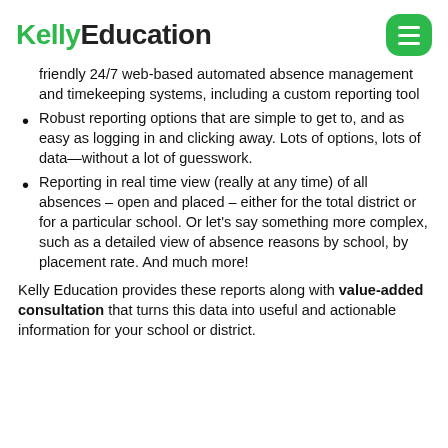Kelly Education
friendly 24/7 web-based automated absence management and timekeeping systems, including a custom reporting tool
Robust reporting options that are simple to get to, and as easy as logging in and clicking away. Lots of options, lots of data—without a lot of guesswork.
Reporting in real time view (really at any time) of all absences – open and placed – either for the total district or for a particular school. Or let's say something more complex, such as a detailed view of absence reasons by school, by placement rate. And much more!
Kelly Education provides these reports along with value-added consultation that turns this data into useful and actionable information for your school or district.